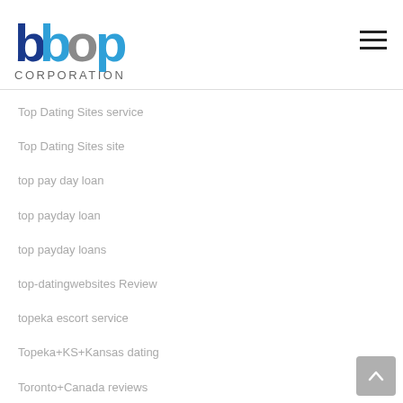[Figure (logo): bbp Corporation logo with stylized blue and grey letters and CORPORATION text below]
Top Dating Sites service
Top Dating Sites site
top pay day loan
top payday loan
top payday loans
top-datingwebsites Review
topeka escort service
Topeka+KS+Kansas dating
Toronto+Canada reviews